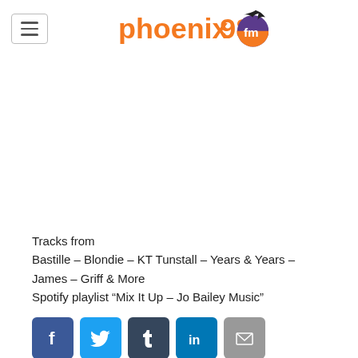[Figure (logo): Phoenix 98FM radio station logo with orange text 'phoenix98' and purple 'fm' with a bird graphic]
Tracks from
Bastille – Blondie – KT Tunstall – Years & Years – James – Griff & More
Spotify playlist “Mix It Up – Jo Bailey Music”
[Figure (infographic): Social media share buttons: Facebook (blue), Twitter (light blue), Tumblr (dark blue), LinkedIn (blue), Email (grey)]
Now on air